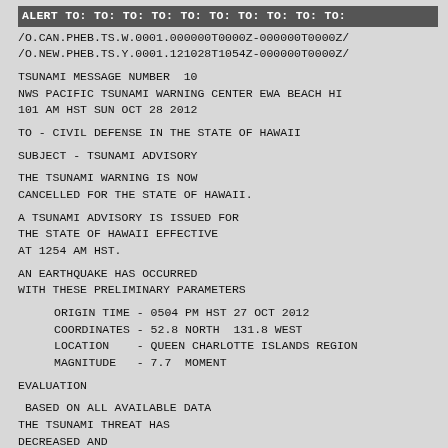ALERT TO: TO: TO: TO: TO: TO: TO: TO: TO: TO:
/O.CAN.PHEB.TS.W.0001.000000T0000Z-000000T0000Z/
/O.NEW.PHEB.TS.Y.0001.121028T1054Z-000000T0000Z/
TSUNAMI MESSAGE NUMBER  10
NWS PACIFIC TSUNAMI WARNING CENTER EWA BEACH HI
101 AM HST SUN OCT 28 2012
TO - CIVIL DEFENSE IN THE STATE OF HAWAII
SUBJECT - TSUNAMI ADVISORY
THE TSUNAMI WARNING IS NOW
CANCELLED FOR THE STATE OF HAWAII.
A TSUNAMI ADVISORY IS ISSUED FOR
THE STATE OF HAWAII EFFECTIVE
AT 1254 AM HST.
AN EARTHQUAKE HAS OCCURRED
WITH THESE PRELIMINARY PARAMETERS
ORIGIN TIME - 0504 PM HST 27 OCT 2012
COORDINATES - 52.8 NORTH  131.8 WEST
LOCATION    - QUEEN CHARLOTTE ISLANDS REGION
MAGNITUDE   - 7.7  MOMENT
EVALUATION
BASED ON ALL AVAILABLE DATA
THE TSUNAMI THREAT HAS
DECREASED AND
 IS NOW AT THE ADVISORY